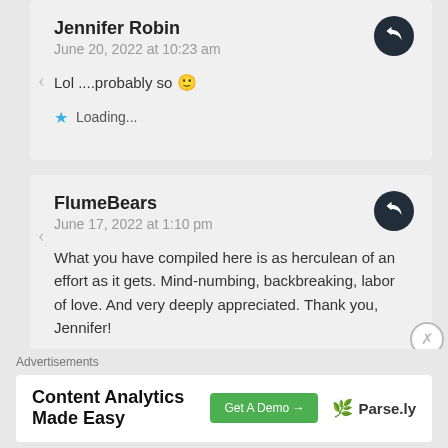Jennifer Robin
June 20, 2022 at 10:23 am
Lol ....probably so 🙂
★ Loading...
FlumeBears
June 17, 2022 at 1:10 pm
What you have compiled here is as herculean of an effort as it gets. Mind-numbing, backbreaking, labor of love. And very deeply appreciated. Thank you, Jennifer!
★ Loading...
Advertisements
Content Analytics Made Easy   Get A Demo →   🌿 Parse.ly